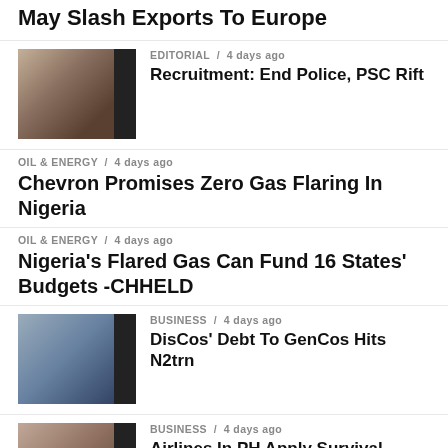May Slash Exports To Europe
EDITORIAL / 4 days ago
Recruitment: End Police, PSC Rift
OIL & ENERGY / 4 days ago
Chevron Promises Zero Gas Flaring In Nigeria
OIL & ENERGY / 4 days ago
Nigeria's Flared Gas Can Fund 16 States' Budgets -CHHELD
BUSINESS / 4 days ago
DisCos' Debt To GenCos Hits N2trn
BUSINESS / 4 days ago
Airlines In PH Apply Survival Strategies Over Jet A1 Scarcity … As Passenger Traffic Shrinks